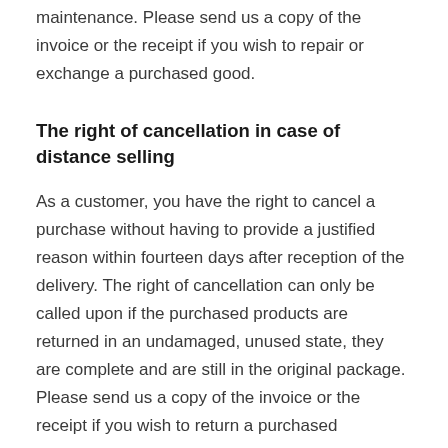maintenance. Please send us a copy of the invoice or the receipt if you wish to repair or exchange a purchased good.
The right of cancellation in case of distance selling
As a customer, you have the right to cancel a purchase without having to provide a justified reason within fourteen days after reception of the delivery. The right of cancellation can only be called upon if the purchased products are returned in an undamaged, unused state, they are complete and are still in the original package. Please send us a copy of the invoice or the receipt if you wish to return a purchased